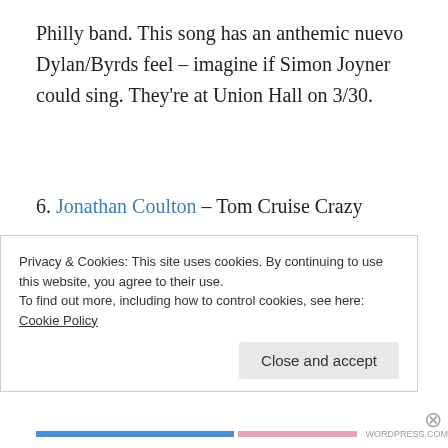Philly band. This song has an anthemic nuevo Dylan/Byrds feel – imagine if Simon Joyner could sing. They’re at Union Hall on 3/30.
6. Jonathan Coulton – Tom Cruise Crazy
A song that needed to be written. He’s at Symphony Space on 3/27 at 9ish.
Privacy & Cookies: This site uses cookies. By continuing to use this website, you agree to their use.
To find out more, including how to control cookies, see here: Cookie Policy